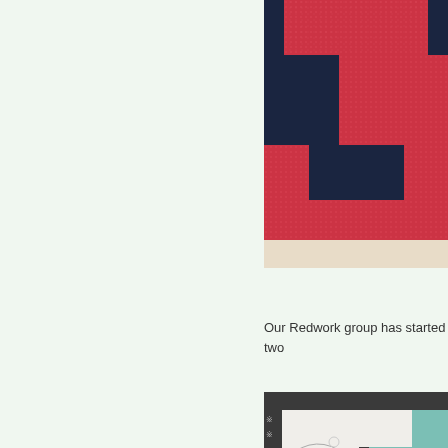[Figure (photo): Close-up of a quilt with red/pink fabric with small dots pattern and dark navy blue blocks arranged in a checkerboard or nine-patch pattern, with a light cream border. The image is cropped showing the lower portion of the quilt.]
Our Redwork group has started two
[Figure (photo): Close-up of a quilt featuring light teal/aqua borders with decorative black print fabric strips, embroidered floral/botanical designs on white background, and pinwheel blocks in pink, purple, and gold/yellow colors in the center area.]